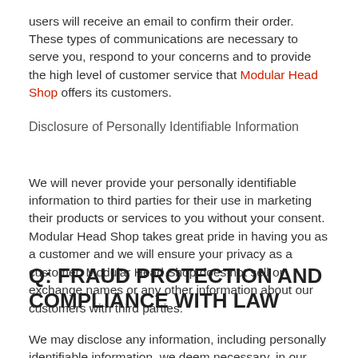users will receive an email to confirm their order. These types of communications are necessary to serve you, respond to your concerns and to provide the high level of customer service that Modular Head Shop offers its customers.
Disclosure of Personally Identifiable Information
We will never provide your personally identifiable information to third parties for their use in marketing their products or services to you without your consent. Modular Head Shop takes great pride in having you as a customer and we will ensure your privacy as a customer. Modular Head Shop does not sell or exchange names or any other information about our customers with third parties.
Q: FRAUD PROTECTION AND COMPLIANCE WITH LAW
We may disclose any information, including personally identifiable information, we deem necessary, in our sole discretion, to comply with any applicable law, regulation, legal process or governmental request. We may also exchange information, including personally identifiable information, with other companies and organizations for